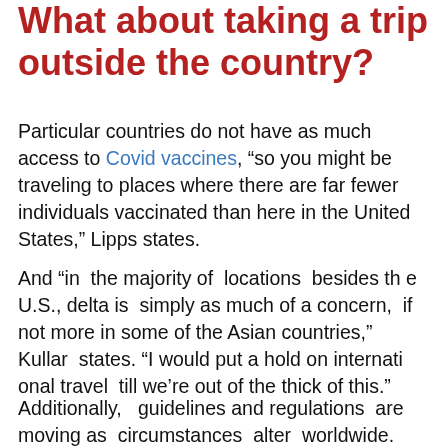What about taking a trip outside the country?
Particular countries do not have as much access to Covid vaccines, “so you might be traveling to places where there are far fewer individuals vaccinated than here in the United States,” Lipps states.
And “in the majority of locations besides the U.S., delta is simply as much of a concern, if not more in some of the Asian countries,” Kullar states. “I would put a hold on international travel till we’re out of the thick of this.”
Additionally, guidelines and regulations are moving as circumstances alter worldwide.